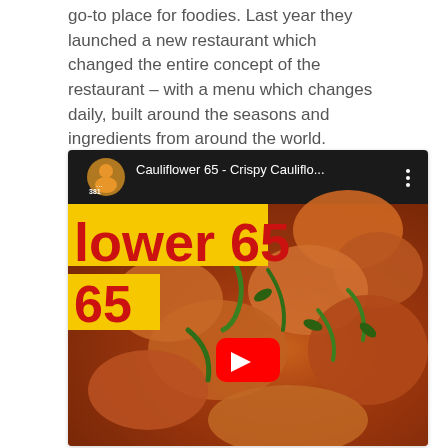go-to place for foodies. Last year they launched a new restaurant which changed the entire concept of the restaurant – with a menu which changes daily, built around the seasons and ingredients from around the world.
[Figure (screenshot): Embedded YouTube video player showing 'Cauliflower 65 - Crispy Cauliflo...' with a dark top bar showing avatar, title, and three-dot menu. Thumbnail shows fried cauliflower dish with green peppers and a red YouTube play button overlay. Yellow banners with red text reading 'lower 65' and '65' are visible on the thumbnail.]